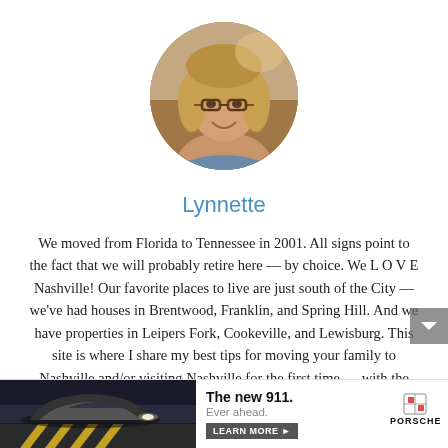[Figure (photo): Circular profile photo of a smiling woman with blonde hair and glasses]
Lynnette
We moved from Florida to Tennessee in 2001. All signs point to the fact that we will probably retire here — by choice. We L O V E Nashville! Our favorite places to live are just south of the City — we've had houses in Brentwood, Franklin, and Spring Hill. And we have properties in Leipers Fork, Cookeville, and Lewisburg. This site is where I share my best tips for moving your family to Nashville and/or visiting Nashville for the first time — with the ultimate goal of helping you find fun things to do in Williamson County and Davidson County. When I'm not out & about enjoying the Nashville area, you'll find me at the corner of Good News &
[Figure (photo): Advertisement banner: Porsche 911 car image on left, text 'The new 911. Ever ahead.' with 'LEARN MORE' button and Porsche logo on right]